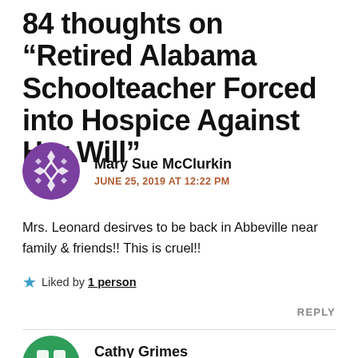84 thoughts on "Retired Alabama Schoolteacher Forced into Hospice Against Her Will"
[Figure (illustration): Purple geometric avatar icon for user Mary Sue McClurkin]
Mary Sue McClurkin
JUNE 25, 2019 AT 12:22 PM
Mrs. Leonard desirves to be back in Abbeville near family & friends!! This is cruel!!
Liked by 1 person
REPLY
[Figure (illustration): Green avatar icon for user Cathy Grimes]
Cathy Grimes